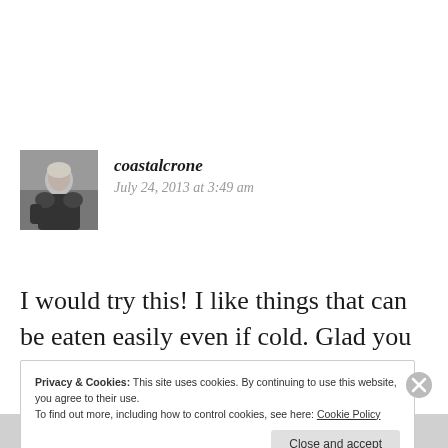[Figure (photo): Grayscale avatar photo of a woman in a black top]
coastalcrone
July 24, 2013 at 3:49 am
I would try this! I like things that can be eaten easily even if cold. Glad you posted a recipe – tempting
Privacy & Cookies: This site uses cookies. By continuing to use this website, you agree to their use. To find out more, including how to control cookies, see here: Cookie Policy
Close and accept